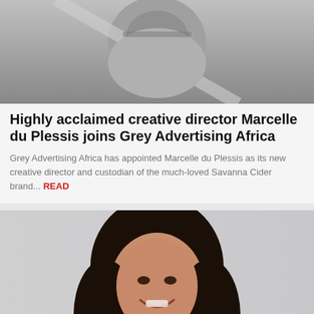[Figure (photo): Black and white photo of a person wearing glasses, partially obscured, with arm raised]
Highly acclaimed creative director Marcelle du Plessis joins Grey Advertising Africa
Grey Advertising Africa has appointed Marcelle du Plessis as its new creative director and custodian of the much-loved Savanna Cider brand... READ
[Figure (photo): Color photo of a smiling woman with long dark hair against a light grey background]